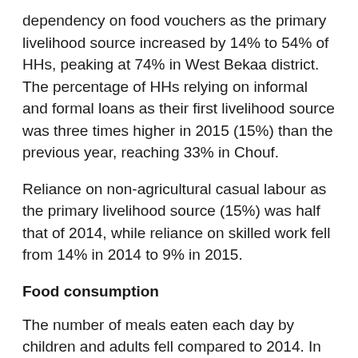dependency on food vouchers as the primary livelihood source increased by 14% to 54% of HHs, peaking at 74% in West Bekaa district. The percentage of HHs relying on informal and formal loans as their first livelihood source was three times higher in 2015 (15%) than the previous year, reaching 33% in Chouf.
Reliance on non-agricultural casual labour as the primary livelihood source (15%) was half that of 2014, while reliance on skilled work fell from 14% in 2014 to 9% in 2015.
Food consumption
The number of meals eaten each day by children and adults fell compared to 2014. In one in three HHs (vs one in four in 2014) members consumed just one or no cooked meals the previous day. Children under five consumed fewer than three cooked meals the previous day in 65% of HHs versus 41% in 2014. More than a quarter of HHs (27%) were unable to